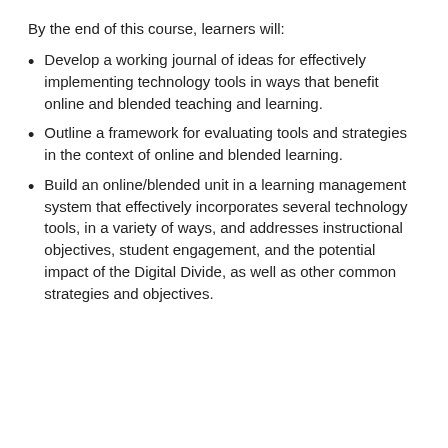By the end of this course, learners will:
Develop a working journal of ideas for effectively implementing technology tools in ways that benefit online and blended teaching and learning.
Outline a framework for evaluating tools and strategies in the context of online and blended learning.
Build an online/blended unit in a learning management system that effectively incorporates several technology tools, in a variety of ways, and addresses instructional objectives, student engagement, and the potential impact of the Digital Divide, as well as other common strategies and objectives.